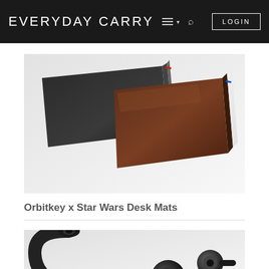EVERYDAY CARRY
[Figure (photo): Two Orbitkey desk mats — one black and one brown/dark red — slightly unfolded, showing pens tucked inside, on a light gray background.]
Orbitkey x Star Wars Desk Mats
[Figure (photo): Close-up of black wireless earphones/earbuds with ear hooks on a light gray background, partially cropped at bottom.]